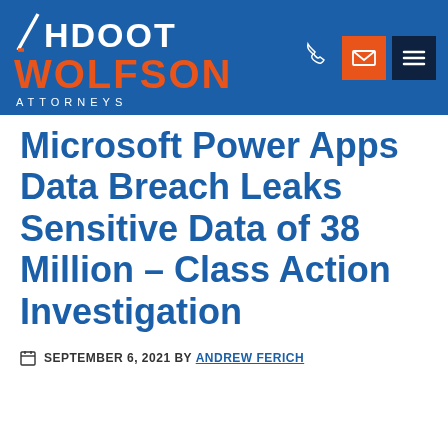[Figure (logo): Ahdoot Wolfson Attorneys logo with phone, email, and menu icons on blue header bar]
Microsoft Power Apps Data Breach Leaks Sensitive Data of 38 Million – Class Action Investigation
SEPTEMBER 6, 2021 BY ANDREW FERICH